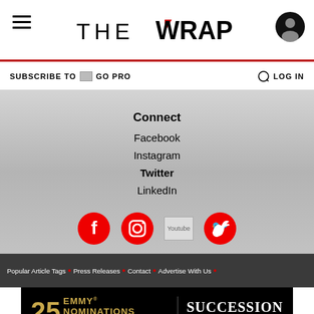THE WRAP
SUBSCRIBE TO GO PRO
LOG IN
Connect
Facebook
Instagram
Twitter
LinkedIn
[Figure (other): Social media icons: Facebook, Instagram, YouTube, Twitter]
Popular Article Tags • Press Releases • Contact • Advertise With Us •
[Figure (other): Ad banner: 25 Emmy Nominations including Outstanding Drama Series - Succession HBO FYC]